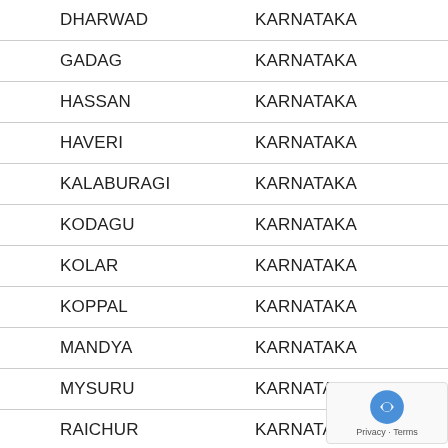| District | State |
| --- | --- |
| DHARWAD | KARNATAKA |
| GADAG | KARNATAKA |
| HASSAN | KARNATAKA |
| HAVERI | KARNATAKA |
| KALABURAGI | KARNATAKA |
| KODAGU | KARNATAKA |
| KOLAR | KARNATAKA |
| KOPPAL | KARNATAKA |
| MANDYA | KARNATAKA |
| MYSURU | KARNATAKA |
| RAICHUR | KARNATAKA |